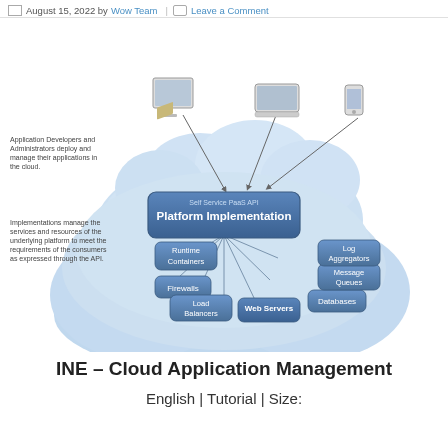August 15, 2022 by Wow Team | Leave a Comment
[Figure (infographic): Cloud computing PaaS diagram showing Platform Implementation at center connected to Runtime Containers, Firewalls, Load Balancers, Web Servers, Databases, Message Queues, Log Aggregators. Above cloud: desktop, laptop, mobile device with arrow lines. Left side annotations: 'Application Developers and Administrators deploy and manage their applications in the cloud.' and 'Implementations manage the services and resources of the underlying platform to meet the requirements of the consumers as expressed through the API.']
INE – Cloud Application Management
English | Tutorial | Size: